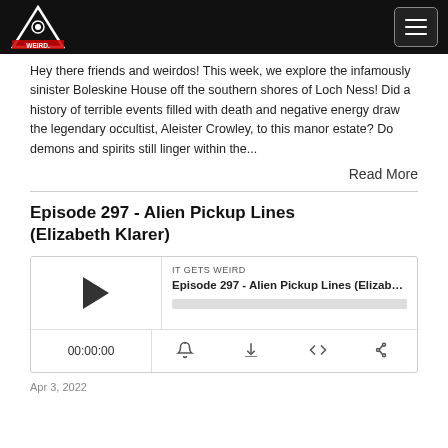IT GETS WEIRD
Hey there friends and weirdos! This week, we explore the infamously sinister Boleskine House off the southern shores of Loch Ness! Did a history of terrible events filled with death and negative energy draw the legendary occultist, Aleister Crowley, to this manor estate? Do demons and spirits still linger within the...
Read More
Episode 297 - Alien Pickup Lines (Elizabeth Klarer)
[Figure (other): Podcast audio player widget showing IT GETS WEIRD - Episode 297 - Alien Pickup Lines (Elizabeth Kl... with play button, progress bar, timestamp 00:00:00, and control icons for RSS, download, embed, and share.]
Apr 3, 2022